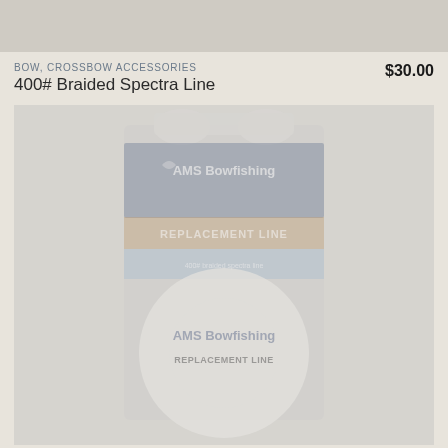[Figure (photo): Top portion of a product photo showing a blurred gray background, partially visible at the top of the page.]
BOW, CROSSBOW ACCESSORIES
$30.00
400# Braided Spectra Line
[Figure (photo): Product photo of AMS Bowfishing 400# Braided Spectra Replacement Line. The product is a spool/reel of line with packaging showing the AMS Bowfishing logo and 'REPLACEMENT LINE' text. The image is faded/washed out with a light gray-blue background.]